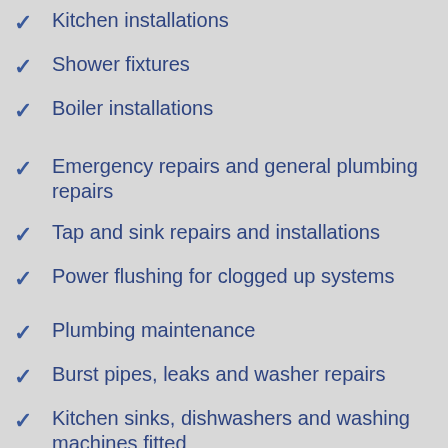Kitchen installations
Shower fixtures
Boiler installations
Emergency repairs and general plumbing repairs
Tap and sink repairs and installations
Power flushing for clogged up systems
Plumbing maintenance
Burst pipes, leaks and washer repairs
Kitchen sinks, dishwashers and washing machines fitted